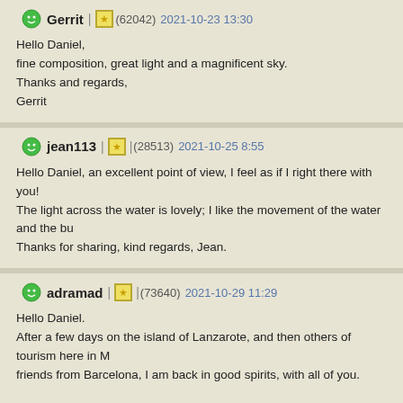Gerrit (62042) 2021-10-23 13:30
Hello Daniel,
fine composition, great light and a magnificent sky.
Thanks and regards,
Gerrit
jean113 (28513) 2021-10-25 8:55
Hello Daniel, an excellent point of view, I feel as if I right there with you!
The light across the water is lovely; I like the movement of the water and the bu...
Thanks for sharing, kind regards, Jean.
adramad (73640) 2021-10-29 11:29
Hello Daniel.
After a few days on the island of Lanzarote, and then others of tourism here in M... friends from Barcelona, I am back in good spirits, with all of you.

Wonderful composition with that stormy sky and the choppy waters of the sea.
Beautiful natural colors, very good lighting and sharpness.
Very well done. Love it.
Enjoy the weekend.
Very best regards.
Luis